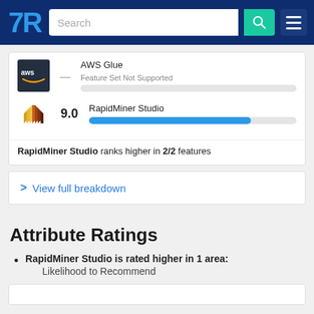[Figure (screenshot): TrustRadius navigation bar with logo, search bar, and menu button]
| Logo | Score | Product | Bar / Status |
| --- | --- | --- | --- |
| aws logo | — | AWS Glue | Feature Set Not Supported |
| RapidMiner logo | 9.0 | RapidMiner Studio | (blue progress bar ~78%) |
RapidMiner Studio ranks higher in 2/2 features
> View full breakdown
Attribute Ratings
RapidMiner Studio is rated higher in 1 area: Likelihood to Recommend